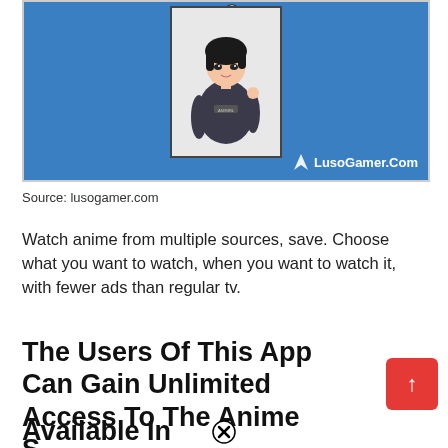[Figure (illustration): Blue advertisement banner featuring an anime girl illustration in a gray t-shirt with short black hair. Contains a close button (X) at the top and LusoGamer.Com logo at the bottom right.]
Source: lusogamer.com
Watch anime from multiple sources, save. Choose what you want to watch, when you want to watch it, with fewer ads than regular tv.
The Users Of This App Can Gain Unlimited Access To The Anime Series Available In